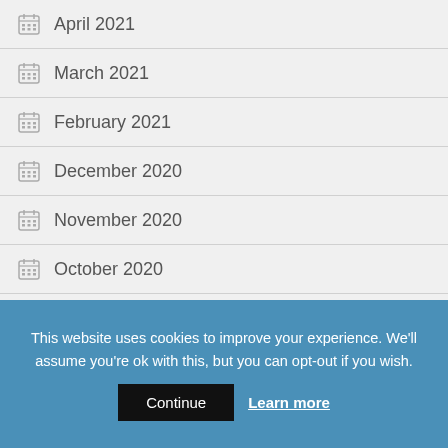April 2021
March 2021
February 2021
December 2020
November 2020
October 2020
September 2020
August 2020
This website uses cookies to improve your experience. We'll assume you're ok with this, but you can opt-out if you wish. Continue  Learn more